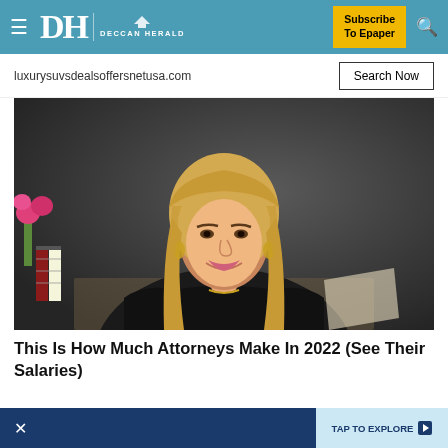DH DECCAN HERALD — Subscribe To Epaper
luxurysuvsdealsoffersnetusa.com
[Figure (photo): Professional photo of a woman with long blonde hair wearing a dark judicial robe, smiling, seated at a desk with flowers and books in the background]
This Is How Much Attorneys Make In 2022 (See Their Salaries)
Attorneys | Search Ads
Sentry — TAP TO EXPLORE